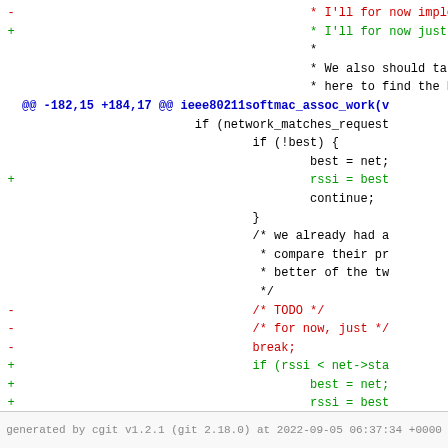[Figure (screenshot): Git diff patch view showing code changes in ieee80211softmac_assoc_work function, with removed lines in red, added lines in green, and context lines in black. Hunk header in blue. Footer shows cgit version info.]
generated by cgit v1.2.1 (git 2.18.0) at 2022-09-05 06:37:34 +0000